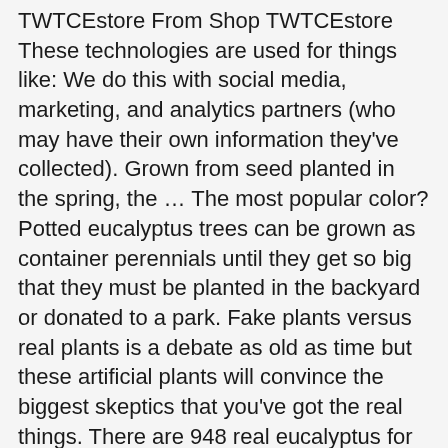TWTCEstore From Shop TWTCEstore These technologies are used for things like: We do this with social media, marketing, and analytics partners (who may have their own information they've collected). Grown from seed planted in the spring, the … The most popular color? Potted eucalyptus trees can be grown as container perennials until they get so big that they must be planted in the backyard or donated to a park. Fake plants versus real plants is a debate as old as time but these artificial plants will convince the biggest skeptics that you've got the real things. There are 948 real eucalyptus for sale on Etsy, and they cost €18.75 on average. $4.46. 'Silver Drop' Eucalyptus Plant, sometimes called a "Cider Gum", is a great aromatic herb and has a lovely, small, silvery leaf. Eucalyptus trees are native to Australia, but they are also found in the western United States, especially in Arizona, California, and Nevada. Shop These Other Plant Collections. Send Text Message Print. You may be most familiar with eucalyptus as the favorite plant of Australia's koala, which is where the tree is most plentiful. Prefers dry, sandy soil conditions. From its incredible aroma